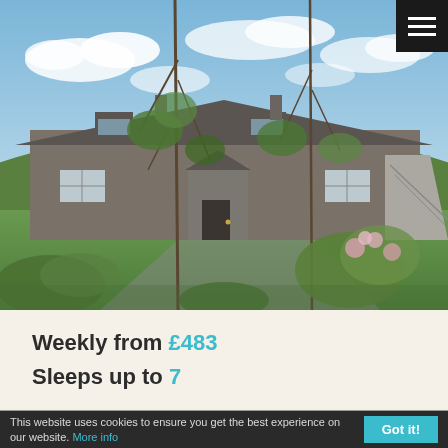[Figure (photo): Exterior photo of a stone country house/cottage with slate roof, surrounded by green garden with trees and flowering bushes in the foreground, blue sky with clouds in the background.]
Weekly from £483
Sleeps up to 7
This website uses cookies to ensure you get the best experience on our website. More info
Got it!